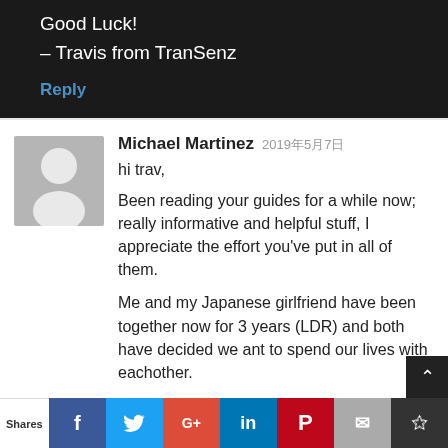Good Luck!
– Travis from TranSenz
Reply
Michael Martinez 2019年5月7日
hi trav,
Been reading your guides for a while now; really informative and helpful stuff, I appreciate the effort you've put in all of them.
Me and my Japanese girlfriend have been together now for 3 years (LDR) and both have decided we ant to spend our lives with eachother.
I just have a question about the affidavit. So for me the U.S Citizen livi
Shares  f  t  G+  in  P  mail  bookmark